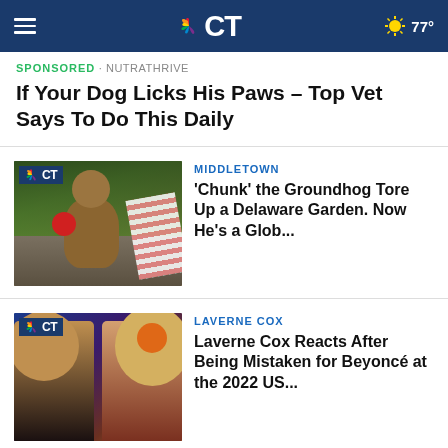NBC CT — 77°
SPONSORED · NUTRATHRIVE
If Your Dog Licks His Paws – Top Vet Says To Do This Daily
MIDDLETOWN
'Chunk' the Groundhog Tore Up a Delaware Garden. Now He's a Glob...
LAVERNE COX
Laverne Cox Reacts After Being Mistaken for Beyoncé at the 2022 US...